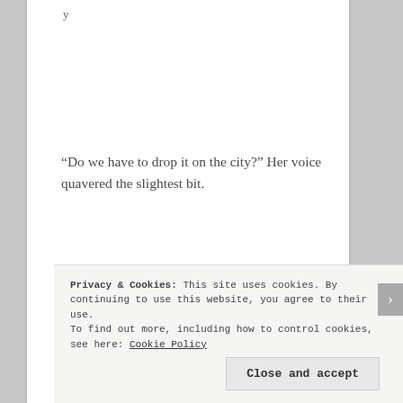“Do we have to drop it on the city?” Her voice quavered the slightest bit.
“We do but it won’t matter where you are in a few hours.”
Privacy & Cookies: This site uses cookies. By continuing to use this website, you agree to their use.
To find out more, including how to control cookies, see here: Cookie Policy
Close and accept